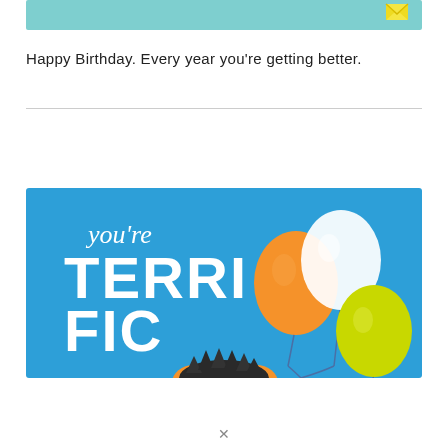[Figure (illustration): Top banner with teal/cyan background and a small envelope icon in the upper right corner]
Happy Birthday. Every year you're getting better.
[Figure (illustration): Birthday card graphic on blue background showing text 'you're TERRIFIC' in white letters (you're in cursive, TERRIFIC in bold block letters), with three balloons (orange, white, yellow-green) and the top of a furry orange monster character at the bottom]